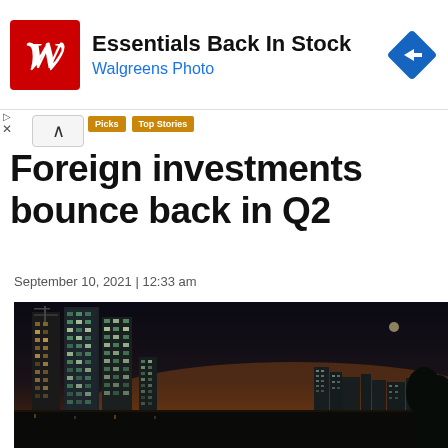[Figure (other): Walgreens advertisement banner: red Walgreens W logo on left, bold text 'Essentials Back In Stock' with blue 'Walgreens Photo' subtitle, blue diamond navigation icon on right]
Foreign investments bounce back in Q2
September 10, 2021 | 12:33 am
[Figure (photo): Night cityscape photo showing illuminated skyscrapers and city buildings against a dark sky with warm orange/amber glow on the horizon, reflecting on the water below]